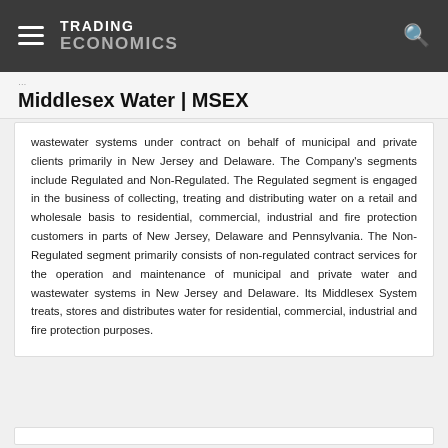TRADING ECONOMICS
Middlesex Water | MSEX
wastewater systems under contract on behalf of municipal and private clients primarily in New Jersey and Delaware. The Company's segments include Regulated and Non-Regulated. The Regulated segment is engaged in the business of collecting, treating and distributing water on a retail and wholesale basis to residential, commercial, industrial and fire protection customers in parts of New Jersey, Delaware and Pennsylvania. The Non-Regulated segment primarily consists of non-regulated contract services for the operation and maintenance of municipal and private water and wastewater systems in New Jersey and Delaware. Its Middlesex System treats, stores and distributes water for residential, commercial, industrial and fire protection purposes.